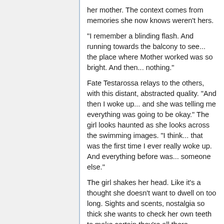her mother. The context comes from memories she now knows weren't hers.
"I remember a blinding flash. And running towards the balcony to see... the place where Mother worked was so bright. And then... nothing."
Fate Testarossa relays to the others, with this distant, abstracted quality. "And then I woke up... and she was telling me everything was going to be okay." The girl looks haunted as she looks across the swimming images. "I think... that was the first time I ever really woke up. And everything before was... someone else."
The girl shakes her head. Like it's a thought she doesn't want to dwell on too long. Sights and scents, nostalgia so thick she wants to check her own teeth to make certain they're all there.